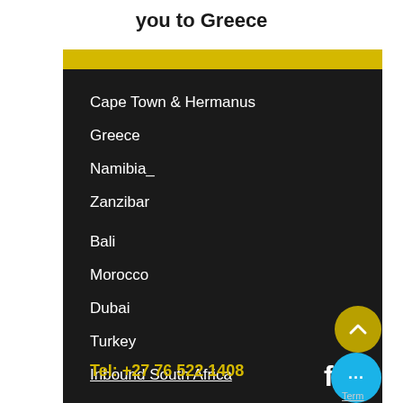you to Greece
Cape Town & Hermanus
Greece
Namibia
Zanzibar
Bali
Morocco
Dubai
Turkey
Inbound South Africa
Tel: +27 76 522 1408